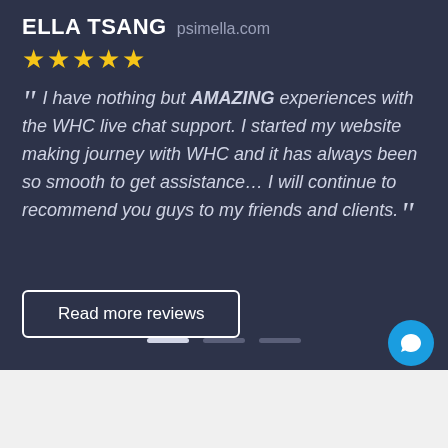ELLA TSANG psimella.com
★★★★★
" I have nothing but AMAZING experiences with the WHC live chat support. I started my website making journey with WHC and it has always been so smooth to get assistance... I will continue to recommend you guys to my friends and clients. "
Read more reviews
[Figure (other): Slide navigation dots: one white active dot and two grey inactive dots]
[Figure (other): Blue circular chat button with speech bubble icon]